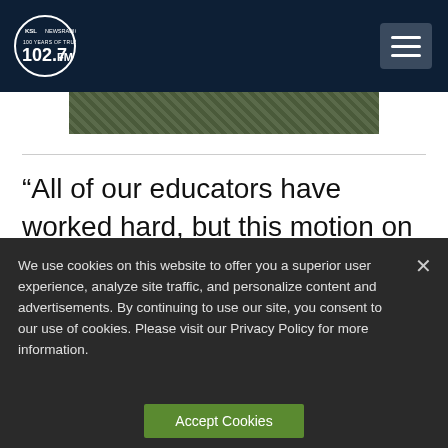KSL NewsRadio 102.7FM
[Figure (photo): Partial image strip showing textured green/dark pattern]
“All of our educators have worked hard, but this motion on the intent language basically says we’re going to funnel this money to those [schools] that have had their students
We use cookies on this website to offer you a superior user experience, analyze site traffic, and personalize content and advertisements. By continuing to use our site, you consent to our use of cookies. Please visit our Privacy Policy for more information.